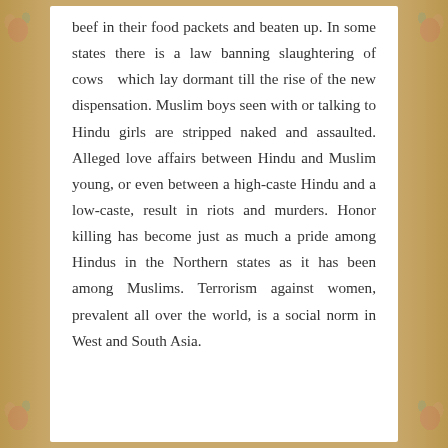beef in their food packets and beaten up. In some states there is a law banning slaughtering of cows which lay dormant till the rise of the new dispensation. Muslim boys seen with or talking to Hindu girls are stripped naked and assaulted. Alleged love affairs between Hindu and Muslim young, or even between a high-caste Hindu and a low-caste, result in riots and murders. Honor killing has become just as much a pride among Hindus in the Northern states as it has been among Muslims. Terrorism against women, prevalent all over the world, is a social norm in West and South Asia.